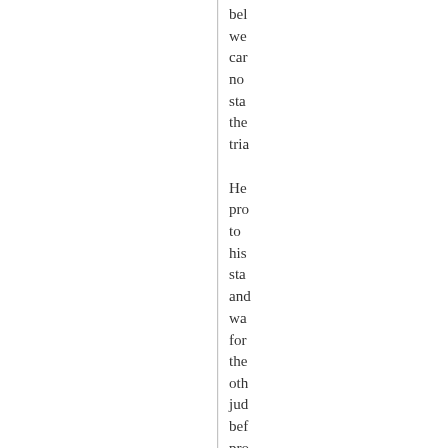bel we car no sta the tria He pro to his sta and wa for the oth jud bef pro to sit dow